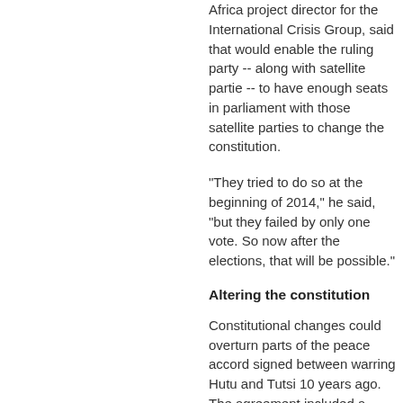Africa project director for the International Crisis Group, said that would enable the ruling party -- along with satellite partie -- to have enough seats in parliament with those satellite parties to change the constitution.
"They tried to do so at the beginning of 2014," he said, "but they failed by only one vote. So now after the elections, that will be possible."
Altering the constitution
Constitutional changes could overturn parts of the peace accord signed between warring Hutu and Tutsi 10 years ago. The agreement included a quota guaranteeing minority Tutsi representation in